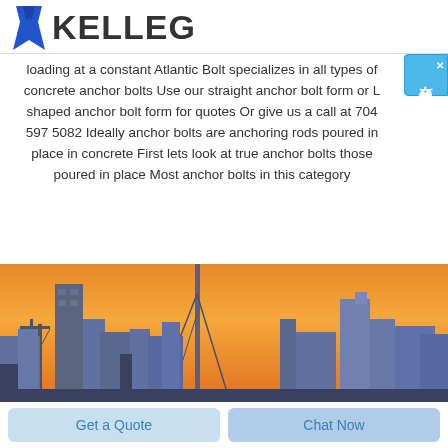KELLEG
loading at a constant Atlantic Bolt specializes in all types of concrete anchor bolts Use our straight anchor bolt form or L shaped anchor bolt form for quotes Or give us a call at 704 597 5082 Ideally anchor bolts are anchoring rods poured in place in concrete First lets look at true anchor bolts those poured in place Most anchor bolts in this category
[Figure (photo): City skyline silhouetted against an orange sunset sky, with construction cranes visible on the left side]
Get a Quote
Chat Now